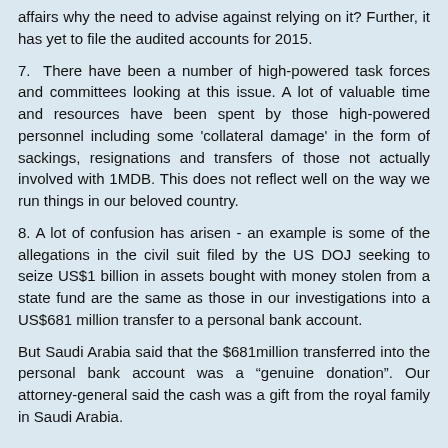affairs why the need to advise against relying on it? Further, it has yet to file the audited accounts for 2015.
7. There have been a number of high-powered task forces and committees looking at this issue. A lot of valuable time and resources have been spent by those high-powered personnel including some 'collateral damage' in the form of sackings, resignations and transfers of those not actually involved with 1MDB. This does not reflect well on the way we run things in our beloved country.
8. A lot of confusion has arisen - an example is some of the allegations in the civil suit filed by the US DOJ seeking to seize US$1 billion in assets bought with money stolen from a state fund are the same as those in our investigations into a US$681 million transfer to a personal bank account.
But Saudi Arabia said that the $681million transferred into the personal bank account was a "genuine donation". Our attorney-general said the cash was a gift from the royal family in Saudi Arabia.